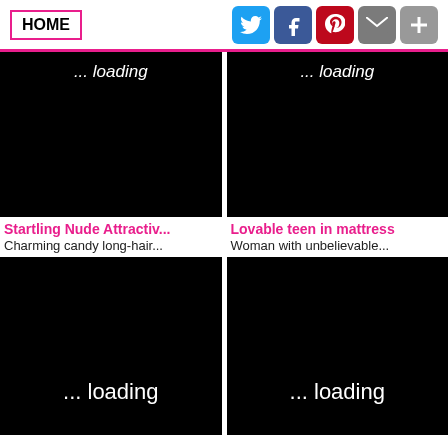HOME | Twitter | Facebook | Pinterest | Mail | +
[Figure (screenshot): Black thumbnail with '... loading' text at top, left column top row]
[Figure (screenshot): Black thumbnail with '... loading' text at top, right column top row]
Startling Nude Attractiv...
Lovable teen in mattress
Charming candy long-hair...
Woman with unbelievable...
[Figure (screenshot): Black thumbnail with '... loading' text centered bottom, left column bottom row]
[Figure (screenshot): Black thumbnail with '... loading' text centered bottom, right column bottom row]